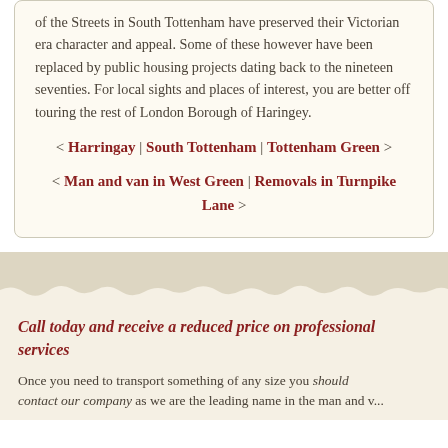of the Streets in South Tottenham have preserved their Victorian era character and appeal. Some of these however have been replaced by public housing projects dating back to the nineteen seventies. For local sights and places of interest, you are better off touring the rest of London Borough of Haringey.
< Harringay | South Tottenham | Tottenham Green >
< Man and van in West Green | Removals in Turnpike Lane >
Call today and receive a reduced price on professional services
Once you need to transport something of any size you should contact our company as we are the leading name in the man and v...